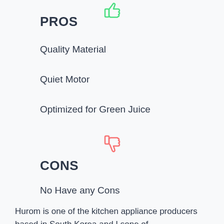[Figure (illustration): Green thumbs-up icon at top center]
PROS
Quality Material
Quiet Motor
Optimized for Green Juice
[Figure (illustration): Red/coral thumbs-down icon]
CONS
No Have any Cons
Hurom is one of the kitchen appliance producers based in South Korea and I sone of